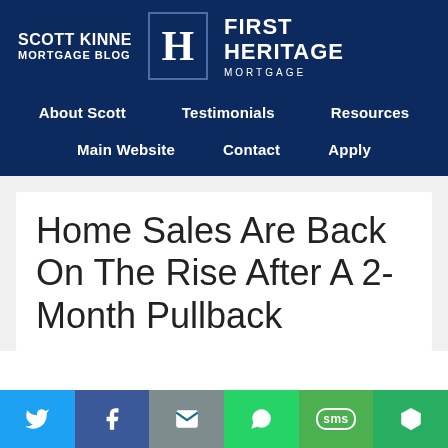SCOTT KINNE MORTGAGE BLOG | FIRST HERITAGE MORTGAGE
About Scott
Testimonials
Resources
Main Website
Contact
Apply
Home Sales Are Back On The Rise After A 2-Month Pullback